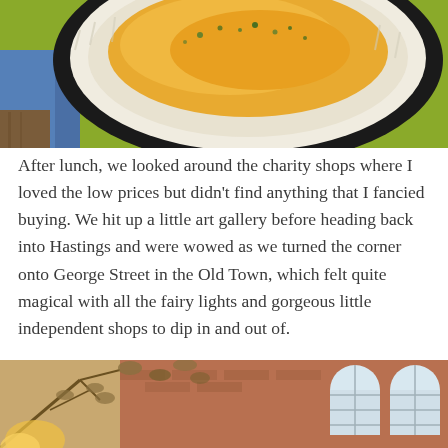[Figure (photo): Close-up overhead photo of a bowl of golden soup (appears to be butternut squash or similar) garnished with herbs, served in a dark ceramic bowl with a textured rim, on a green tablecloth with a blue napkin visible]
After lunch, we looked around the charity shops where I loved the low prices but didn't find anything that I fancied buying. We hit up a little art gallery before heading back into Hastings and were wowed as we turned the corner onto George Street in the Old Town, which felt quite magical with all the fairy lights and gorgeous little independent shops to dip in and out of.
[Figure (photo): Partial view of a brick building with arched white-framed windows, with tree branches and warm lighting visible in the foreground, giving a cozy street scene atmosphere]